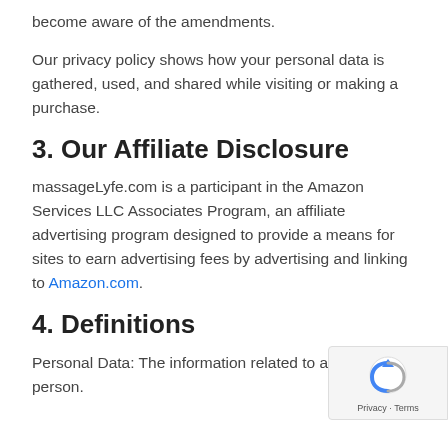become aware of the amendments.
Our privacy policy shows how your personal data is gathered, used, and shared while visiting or making a purchase.
3. Our Affiliate Disclosure
massageLyfe.com is a participant in the Amazon Services LLC Associates Program, an affiliate advertising program designed to provide a means for sites to earn advertising fees by advertising and linking to Amazon.com.
4. Definitions
Personal Data: The information related to a natural person.